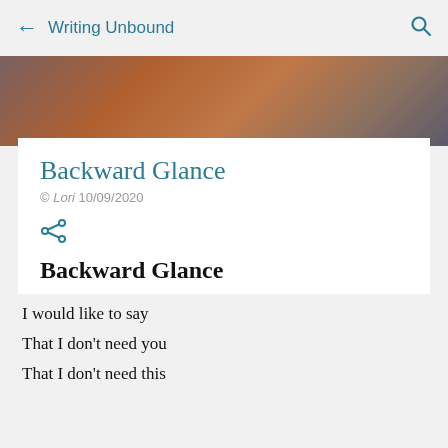← Writing Unbound 🔍
[Figure (photo): Blurred background hero image with warm brown, orange, and grey tones]
Backward Glance
© Lori 10/09/2020
Backward Glance
I would like to say
That I don't need you
That I don't need this